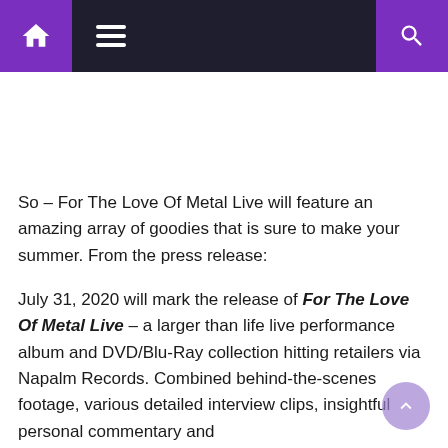Navigation bar with home, menu, and search icons
So – For The Love Of Metal Live will feature an amazing array of goodies that is sure to make your summer. From the press release:
July 31, 2020 will mark the release of For The Love Of Metal Live – a larger than life live performance album and DVD/Blu-Ray collection hitting retailers via Napalm Records. Combined behind-the-scenes footage, various detailed interview clips, insightful personal commentary and